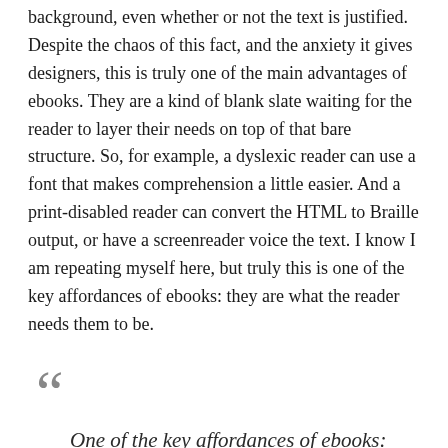background, even whether or not the text is justified. Despite the chaos of this fact, and the anxiety it gives designers, this is truly one of the main advantages of ebooks. They are a kind of blank slate waiting for the reader to layer their needs on top of that bare structure. So, for example, a dyslexic reader can use a font that makes comprehension a little easier. And a print-disabled reader can convert the HTML to Braille output, or have a screenreader voice the text. I know I am repeating myself here, but truly this is one of the key affordances of ebooks: they are what the reader needs them to be.
One of the key affordances of ebooks: they are what the reader needs them to be.
And while I have long proselytized that a good ebook is one